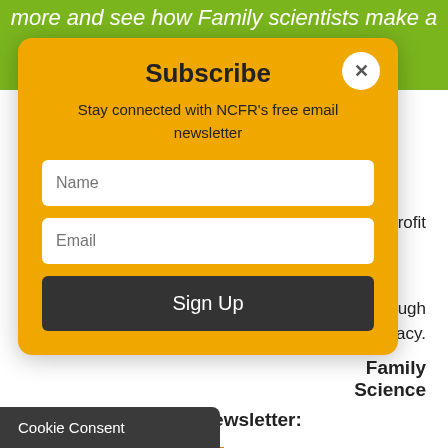more and see how Family scientists make a difference
[Figure (screenshot): Subscribe modal dialog with Name and Email fields, Sign Up button, and X close button on orange/yellow background]
profit
s through vocacy.
Family Science
in our weekly email newsletter:
[Figure (screenshot): Sign Up button with orange border outline]
Cookie Consent